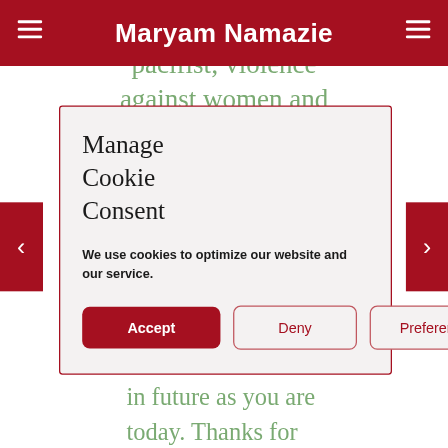Maryam Namazie
pacifist; violence against women and
Manage Cookie Consent
We use cookies to optimize our website and our service.
Accept  Deny  Preferences
in future as you are today. Thanks for keeping us aware of these issues from a